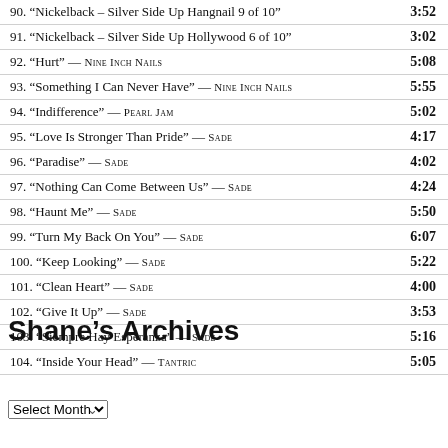| Track | Duration |
| --- | --- |
| 90. “Nickelback – Silver Side Up Hangnail 9 of 10” | 3:52 |
| 91. “Nickelback – Silver Side Up Hollywood 6 of 10” | 3:02 |
| 92. “Hurt” — NINE INCH NAILS | 5:08 |
| 93. “Something I Can Never Have” — NINE INCH NAILS | 5:55 |
| 94. “Indifference” — PEARL JAM | 5:02 |
| 95. “Love Is Stronger Than Pride” — SADE | 4:17 |
| 96. “Paradise” — SADE | 4:02 |
| 97. “Nothing Can Come Between Us” — SADE | 4:24 |
| 98. “Haunt Me” — SADE | 5:50 |
| 99. “Turn My Back On You” — SADE | 6:07 |
| 100. “Keep Looking” — SADE | 5:22 |
| 101. “Clean Heart” — SADE | 4:00 |
| 102. “Give It Up” — SADE | 3:53 |
| 103. “Siempre Hay Esperanza” — SADE | 5:16 |
| 104. “Inside Your Head” — TANTRIC | 5:05 |
Shane’s Archives